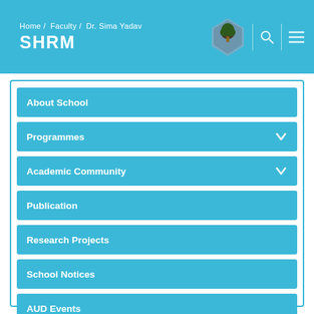Home / Faculty / Dr. Sima Yadav
SHRM
About School
Programmes
Academic Community
Publication
Research Projects
School Notices
AUD Events